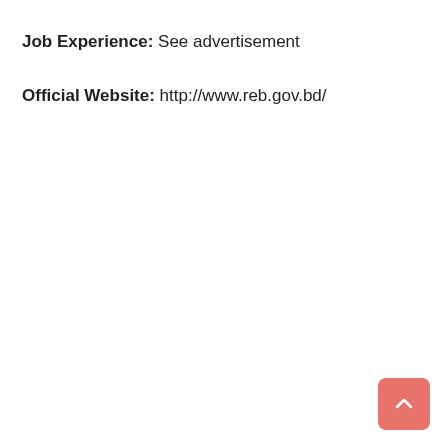Job Experience: See advertisement
Official Website: http://www.reb.gov.bd/